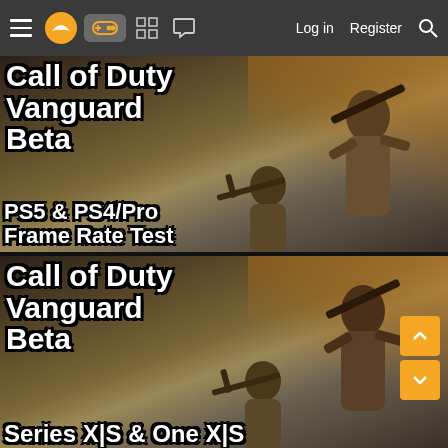Navigation bar with hamburger menu, logo, gamepad icon, grid icon, chat icon, Log in, Register, Search
[Figure (screenshot): Call of Duty Vanguard Beta article thumbnail showing soldiers with weapons on a battlefield background. Text overlay reads 'Call of Duty Vanguard Beta' and 'PS5 & PS4/Pro Frame Rate Test']
Call of Duty Vanguard Beta
PS5 & PS4/Pro Frame Rate Test
[Figure (screenshot): Call of Duty Vanguard Beta second article thumbnail showing soldiers with weapons on a battlefield background. Text overlay reads 'Call of Duty Vanguard Beta' and 'Series X|S & One X|S']
Call of Duty Vanguard Beta
Series X|S & One X|S